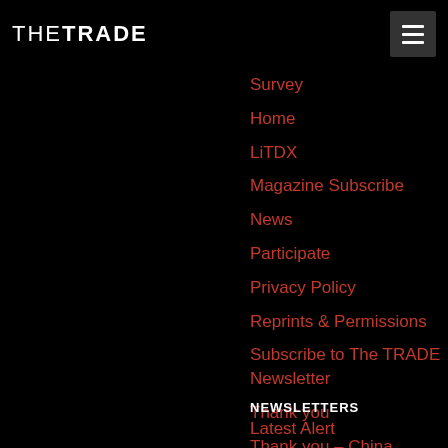THE TRADE
Survey
Home
LiTDX
Magazine Subscribe
News
Participate
Privacy Policy
Reprints & Permissions
Subscribe to The TRADE Newsletter
Thank you
Thank you – China Survey
The Trade Guides
Trade Library
NEWSLETTERS
Latest Alert